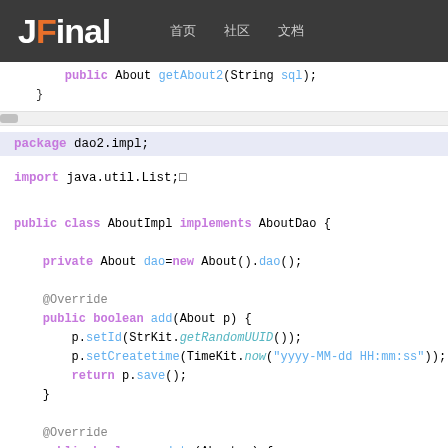JFinal  首页  社区  文档
public About getAbout2(String sql);
}
package dao2.impl;
import java.util.List;
public class AboutImpl implements AboutDao {
    private About dao=new About().dao();

    @Override
    public boolean add(About p) {
        p.setId(StrKit.getRandomUUID());
        p.setCreatetime(TimeKit.now("yyyy-MM-dd HH:mm:ss"));
        return p.save();
    }

    @Override
    public boolean update(About p) {
        p.setUpdatetime(TimeKit.now("yyyy-MM-dd HH:mm:ss"));
        return p.update();
    }

    @Override